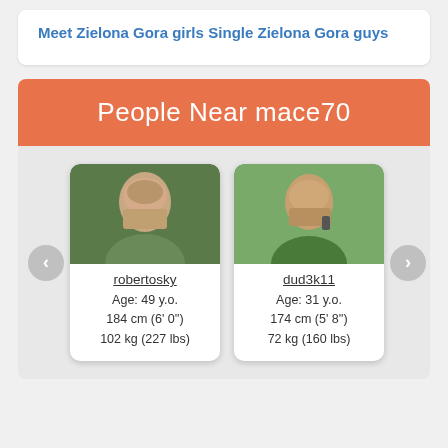Meet Zielona Gora girls
Single Zielona Gora guys
People Near mace70
[Figure (photo): Profile photo of robertosky, a man outdoors in green background]
robertosky
Age: 49 y.o.
184 cm (6' 0'')
102 kg (227 lbs)
[Figure (photo): Profile photo of dud3k11, a man smiling while on phone outdoors]
dud3k11
Age: 31 y.o.
174 cm (5' 8'')
72 kg (160 lbs)